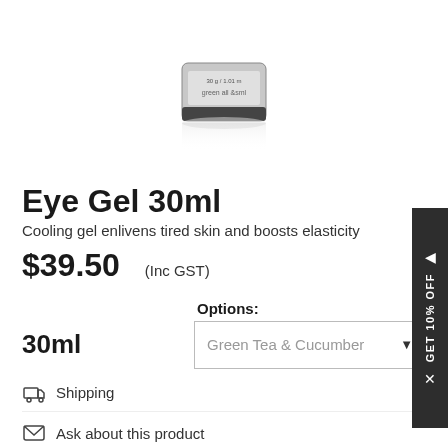[Figure (photo): Product photo of Eye Gel 30ml skincare container, silver/dark cylindrical jar, shown partially cropped at top of page with reflection]
Eye Gel 30ml
Cooling gel enlivens tired skin and boosts elasticity
$39.50 (Inc GST)
Options:
30ml
Green Tea & Cucumber
Shipping
Ask about this product